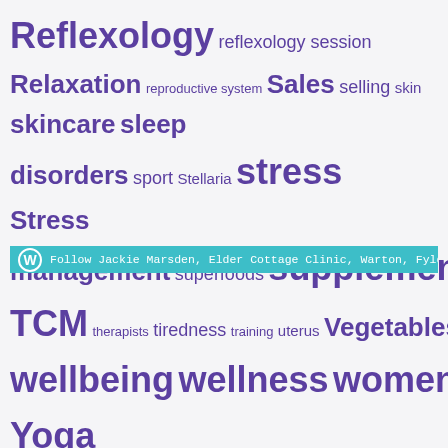Reflexology reflexology session Relaxation reproductive system Sales selling skin skincare sleep disorders sport Stellaria stress Stress management superfoods supplements TCM therapists tiredness training uterus Vegetables wellbeing wellness women womenshealth Yoga
Follow Jackie Marsden, Elder Cottage Clinic, Warton, Fylde. 077991